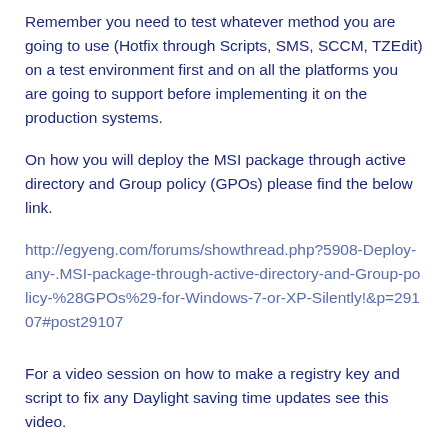Remember you need to test whatever method you are going to use (Hotfix through Scripts, SMS, SCCM, TZEdit) on a test environment first and on all the platforms you are going to support before implementing it on the production systems.
On how you will deploy the MSI package through active directory and Group policy (GPOs) please find the below link.
http://egyeng.com/forums/showthread.php?5908-Deploy-any-.MSI-package-through-active-directory-and-Group-policy-%28GPOs%29-for-Windows-7-or-XP-Silently!&p=29107#post29107
For a video session on how to make a registry key and script to fix any Daylight saving time updates see this video.